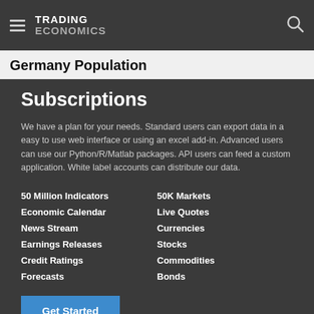TRADING ECONOMICS
Germany Population
Subscriptions
We have a plan for your needs. Standard users can export data in a easy to use web interface or using an excel add-in. Advanced users can use our Python/R/Matlab packages. API users can feed a custom application. White label accounts can distribute our data.
50 Million Indicators
Economic Calendar
News Stream
Earnings Releases
Credit Ratings
Forecasts
50K Markets
Live Quotes
Currencies
Stocks
Commodities
Bonds
Get Started